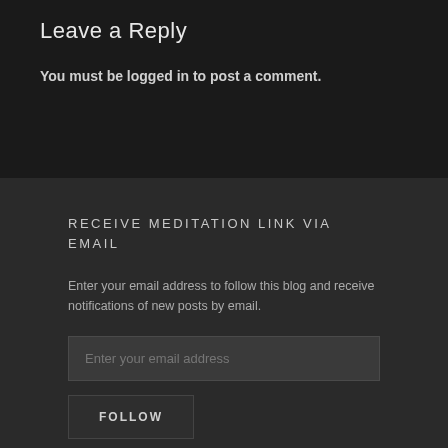Leave a Reply
You must be logged in to post a comment.
RECEIVE MEDITATION LINK VIA EMAIL
Enter your email address to follow this blog and receive notifications of new posts by email.
Enter your email address
FOLLOW